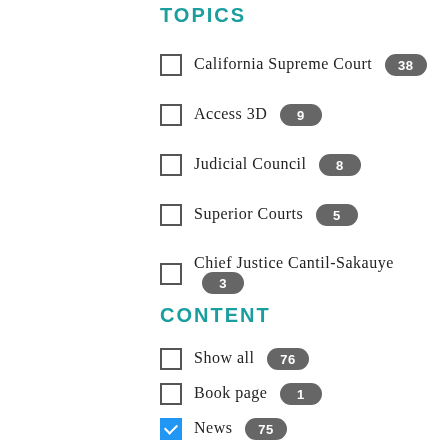TOPICS
California Supreme Court 38
Access 3D 9
Judicial Council 8
Superior Courts 5
Chief Justice Cantil-Sakauye 3
CONTENT
Show all 76
Book page 1
News 75
NEWS TYPE